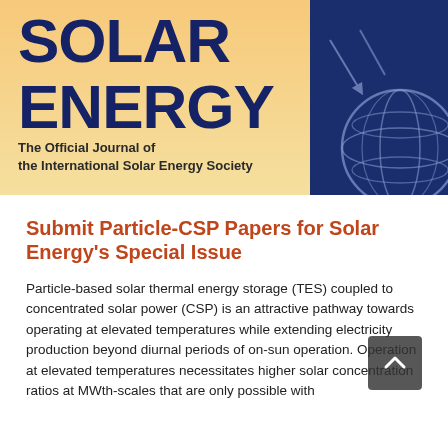[Figure (illustration): Solar Energy journal cover showing bold dark blue text 'SOLAR ENERGY' on a yellow-orange gradient background on the left, with subtitle 'The Official Journal of the International Solar Energy Society', and a dark blue panel on the right featuring a light blue globe/world grid graphic.]
Submit Particle-CSP Papers for Solar Energy's Special Issue
Particle-based solar thermal energy storage (TES) coupled to concentrated solar power (CSP) is an attractive pathway towards operating at elevated temperatures while extending electricity production beyond diurnal periods of on-sun operation. Operation at elevated temperatures necessitates higher solar concentration ratios at MWth-scales that are only possible with